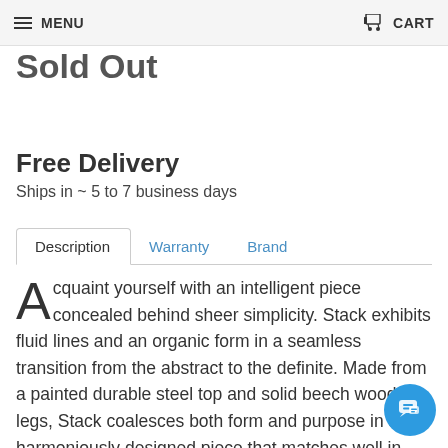MENU | CART
Sold Out
Free Delivery
Ships in ~ 5 to 7 business days
Description | Warranty | Brand
Acquaint yourself with an intelligent piece concealed behind sheer simplicity. Stack exhibits fluid lines and an organic form in a seamless transition from the abstract to the definite. Made from a painted durable steel top and solid beech wood legs, Stack coalesces both form and purpose in a harmoniously designed piece that matches well in any uncomplicated d■■cor.